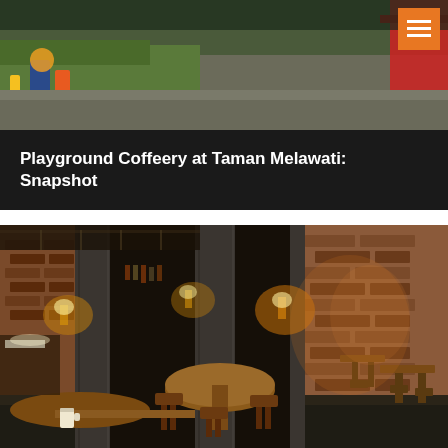[Figure (photo): Outdoor playground/parking area photo with green turf visible and red structure at right edge]
Playground Coffeery at Taman Melawati: Snapshot
[Figure (photo): Interior of Playground Coffeery cafe showing industrial-style decor with brick walls, wooden tables and stools, concrete pillars with wall sconce lighting, dark ceiling, and bar area in background]